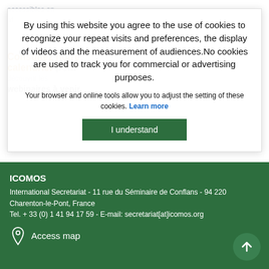accessibles en afar
Consultez notre calendrier pour découvrir les webinaires à venir.
By using this website you agree to the use of cookies to recognize your repeat visits and preferences, the display of videos and the measurement of audiences.No cookies are used to track you for commercial or advertising purposes.
Your browser and online tools allow you to adjust the setting of these cookies. Learn more
I understand
ICOMOS
International Secretariat - 11 rue du Séminaire de Conflans - 94 220 Charenton-le-Pont, France
Tel. + 33 (0) 1 41 94 17 59 - E-mail: secretariat[at]icomos.org
Access map